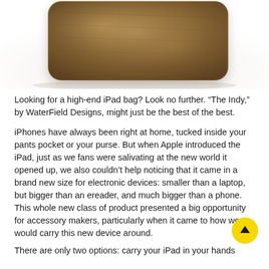[Figure (photo): Brown leather iPad bag (The Indy by WaterField Designs) photographed against white background, showing top and front of the bag with visible texture and rounded corners]
Looking for a high-end iPad bag? Look no further. “The Indy,” by WaterField Designs, might just be the best of the best.
iPhones have always been right at home, tucked inside your pants pocket or your purse. But when Apple introduced the iPad, just as we fans were salivating at the new world it opened up, we also couldn’t help noticing that it came in a brand new size for electronic devices: smaller than a laptop, but bigger than an ereader, and much bigger than a phone. This whole new class of product presented a big opportunity for accessory makers, particularly when it came to how we would carry this new device around.
There are only two options: carry your iPad in your hands